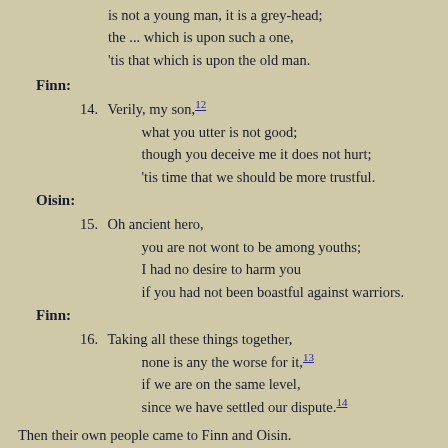is not a young man, it is a grey-head;
the ... which is upon such a one,
'tis that which is upon the old man.
Finn:
14. Verily, my son,12
what you utter is not good;
though you deceive me it does not hurt;
'tis time that we should be more trustful.
Oisin:
15. Oh ancient hero,
you are not wont to be among youths;
I had no desire to harm you
if you had not been boastful against warriors.
Finn:
16. Taking all these things together,
none is any the worse for it,13
if we are on the same level,
since we have settled our dispute.14
Then their own people came to Finn and Oisin.